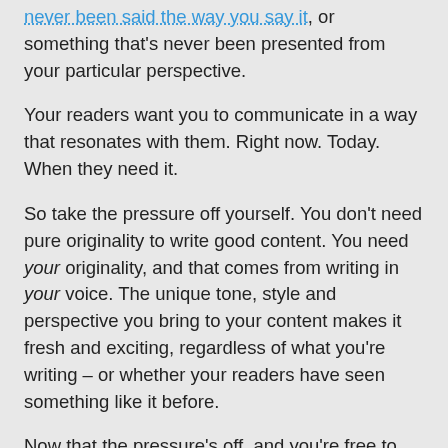never been said the way you say it, or something that's never been presented from your particular perspective.
Your readers want you to communicate in a way that resonates with them. Right now. Today. When they need it.
So take the pressure off yourself. You don't need pure originality to write good content. You need your originality, and that comes from writing in your voice. The unique tone, style and perspective you bring to your content makes it fresh and exciting, regardless of what you're writing – or whether your readers have seen something like it before.
Now that the pressure's off, and you're free to write about whatever you'd like, here are 7 easy ideas to start that content stream flowing on a permanent